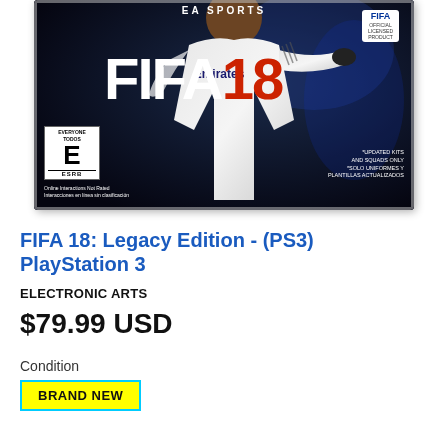[Figure (photo): FIFA 18 Legacy Edition PS3 game cover showing a soccer player in white Real Madrid Emirates jersey, with EA Sports branding, FIFA badge, ESRB E rating, and bilingual text about updated kits and squads]
FIFA 18: Legacy Edition - (PS3) PlayStation 3
ELECTRONIC ARTS
$79.99 USD
Condition
BRAND NEW